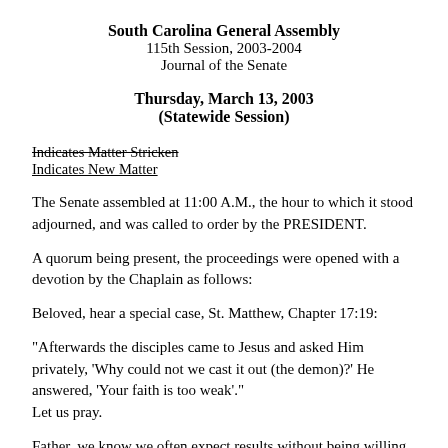South Carolina General Assembly
115th Session, 2003-2004
Journal of the Senate
Thursday, March 13, 2003
(Statewide Session)
Indicates Matter Stricken
Indicates New Matter
The Senate assembled at 11:00 A.M., the hour to which it stood adjourned, and was called to order by the PRESIDENT.
A quorum being present, the proceedings were opened with a devotion by the Chaplain as follows:
Beloved, hear a special case, St. Matthew, Chapter 17:19:
"Afterwards the disciples came to Jesus and asked Him privately, 'Why could not we cast it out (the demon)?' He answered, 'Your faith is too weak'."
Let us pray.
Father, we know we often expect results without being willing to pay the price.